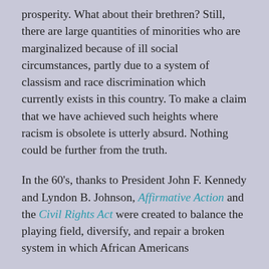prosperity. What about their brethren? Still, there are large quantities of minorities who are marginalized because of ill social circumstances, partly due to a system of classism and race discrimination which currently exists in this country. To make a claim that we have achieved such heights where racism is obsolete is utterly absurd. Nothing could be further from the truth.
In the 60's, thanks to President John F. Kennedy and Lyndon B. Johnson, Affirmative Action and the Civil Rights Act were created to balance the playing field, diversify, and repair a broken system in which African Americans